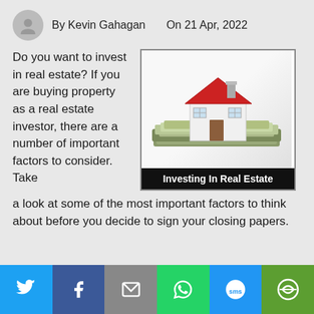By Kevin Gahagan   On 21 Apr, 2022
Do you want to invest in real estate? If you are buying property as a real estate investor, there are a number of important factors to consider. Take a look at some of the most important factors to think about before you decide to sign your closing papers.
[Figure (illustration): Image of a miniature house model sitting on top of stacks of US dollar bills, with caption 'Investing In Real Estate' on a black banner below.]
Social share bar with Twitter, Facebook, Email, WhatsApp, SMS, and other sharing icons